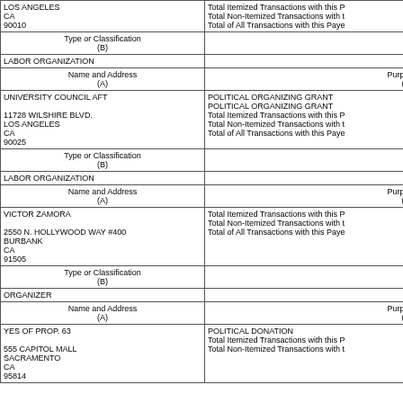| Name and Address (A) | Purpose / Transactions (C) |
| --- | --- |
| LOS ANGELES
CA
90010 | Total Itemized Transactions with this P
Total Non-Itemized Transactions with t
Total of All Transactions with this Paye |
| Type or Classification (B) |  |
| LABOR ORGANIZATION |  |
| Name and Address (A) | Purpose (C) |
| UNIVERSITY COUNCIL AFT

11728 WILSHIRE BLVD.
LOS ANGELES
CA
90025 | POLITICAL ORGANIZING GRANT
POLITICAL ORGANIZING GRANT
Total Itemized Transactions with this P
Total Non-Itemized Transactions with t
Total of All Transactions with this Paye |
| Type or Classification (B) |  |
| LABOR ORGANIZATION |  |
| Name and Address (A) | Purpose (C) |
| VICTOR ZAMORA

2550 N. HOLLYWOOD WAY #400
BURBANK
CA
91505 | Total Itemized Transactions with this P
Total Non-Itemized Transactions with t
Total of All Transactions with this Paye |
| Type or Classification (B) |  |
| ORGANIZER |  |
| Name and Address (A) | Purpose (C) |
| YES OF PROP. 63

555 CAPITOL MALL
SACRAMENTO
CA
95814 | POLITICAL DONATION
Total Itemized Transactions with this P
Total Non-Itemized Transactions with t |